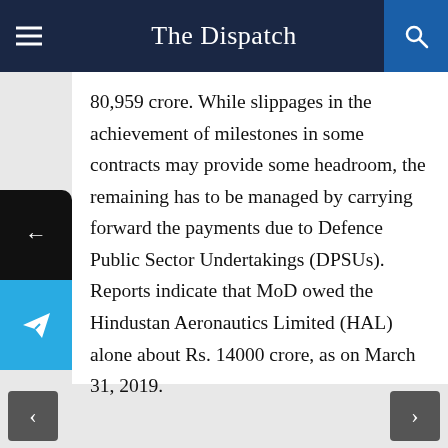The Dispatch
80,959 crore. While slippages in the achievement of milestones in some contracts may provide some headroom, the remaining has to be managed by carrying forward the payments due to Defence Public Sector Undertakings (DPSUs). Reports indicate that MoD owed the Hindustan Aeronautics Limited (HAL) alone about Rs. 14000 crore, as on March 31, 2019.
< >